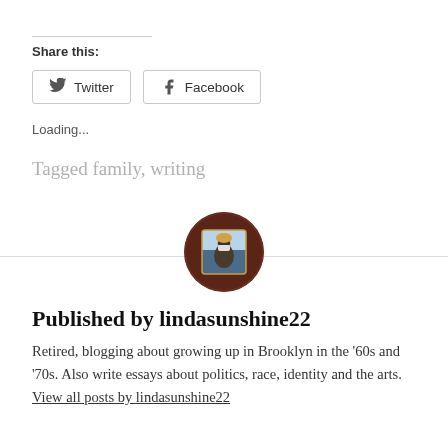Share this:
[Figure (other): Twitter and Facebook share buttons]
Loading...
Tagged family, writing
[Figure (photo): Circular avatar photo of lindasunshine22, person with mask outdoors]
Published by lindasunshine22
Retired, blogging about growing up in Brooklyn in the '60s and '70s. Also write essays about politics, race, identity and the arts. View all posts by lindasunshine22